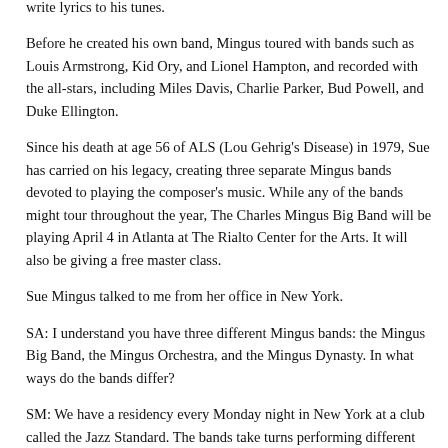write lyrics to his tunes.
Before he created his own band, Mingus toured with bands such as Louis Armstrong, Kid Ory, and Lionel Hampton, and recorded with the all-stars, including Miles Davis, Charlie Parker, Bud Powell, and Duke Ellington.
Since his death at age 56 of ALS (Lou Gehrig's Disease) in 1979, Sue has carried on his legacy, creating three separate Mingus bands devoted to playing the composer's music. While any of the bands might tour throughout the year, The Charles Mingus Big Band will be playing April 4 in Atlanta at The Rialto Center for the Arts. It will also be giving a free master class.
Sue Mingus talked to me from her office in New York.
SA: I understand you have three different Mingus bands: the Mingus Big Band, the Mingus Orchestra, and the Mingus Dynasty. In what ways do the bands differ?
SM: We have a residency every Monday night in New York at a club called the Jazz Standard. The bands take turns performing different Mondays. We started off originally many years ago with The Mingus Dynasty, which is a seven-piece band. It performed Charles' master work, “Epitaph,” which is a 2½-hour composition that was conducted by Gunther Schuller and written for 31 musicians. After hearing the heft and power of this music on a grander